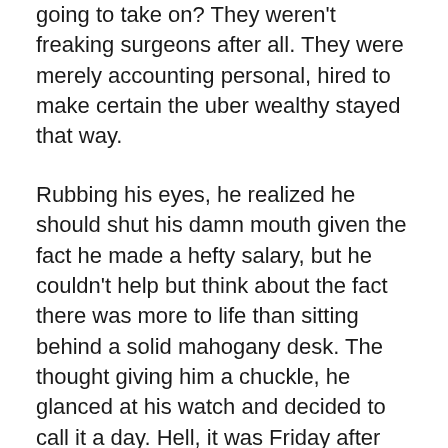going to take on? They weren't freaking surgeons after all. They were merely accounting personal, hired to make certain the uber wealthy stayed that way.
Rubbing his eyes, he realized he should shut his damn mouth given the fact he made a hefty salary, but he couldn't help but think about the fact there was more to life than sitting behind a solid mahogany desk. The thought giving him a chuckle, he glanced at his watch and decided to call it a day. Hell, it was Friday after all. The rich people could wait until next week. He wanted to enjoy a quiet weekend. You mean a boring weekend.
He allowed his mind to wander about sex. Glorious sex. God, he was damn horny. He wanted to be strapped down, flogged and fucked then have the moment start all over again. Closing his eyes, he envisioned Trevor's